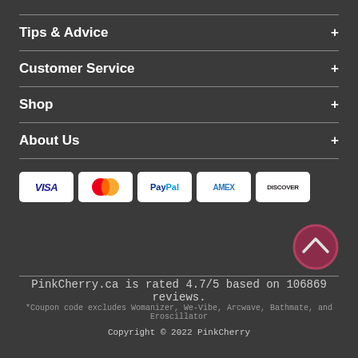Tips & Advice
Customer Service
Shop
About Us
[Figure (other): Payment method badges: VISA, Mastercard, PayPal, AMEX, Discover]
[Figure (other): Scroll to top button with upward chevron icon]
PinkCherry.ca is rated 4.7/5 based on 106869 reviews.
*Coupon code excludes Womanizer, We-Vibe, Arcwave, Bathmate, and Eroscillator
Copyright © 2022 PinkCherry